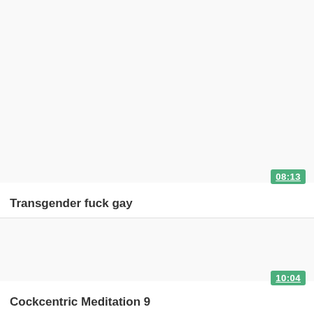[Figure (screenshot): Video thumbnail placeholder for first video, white/light background]
08:13
Transgender fuck gay
[Figure (screenshot): Video thumbnail placeholder for second video, white/light background]
10:04
Cockcentric Meditation 9